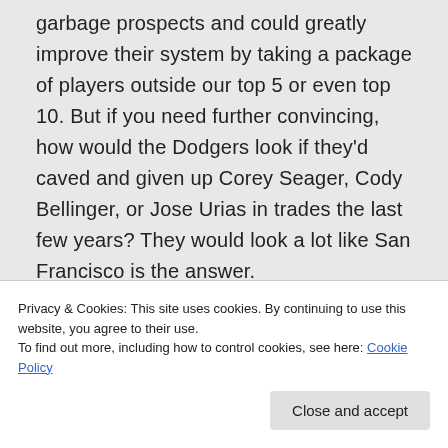garbage prospects and could greatly improve their system by taking a package of players outside our top 5 or even top 10. But if you need further convincing, how would the Dodgers look if they'd caved and given up Corey Seager, Cody Bellinger, or Jose Urias in trades the last few years? They would look a lot like San Francisco is the answer.
★ Like
Privacy & Cookies: This site uses cookies. By continuing to use this website, you agree to their use.
To find out more, including how to control cookies, see here: Cookie Policy
Close and accept